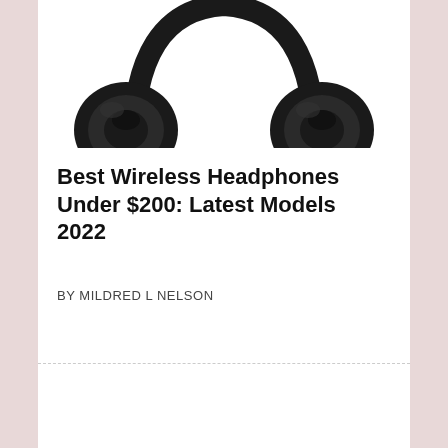[Figure (photo): Black over-ear wireless headphones viewed from above against a white background, cropped so only the top portion of the headphones is visible.]
Best Wireless Headphones Under $200: Latest Models 2022
BY MILDRED L NELSON